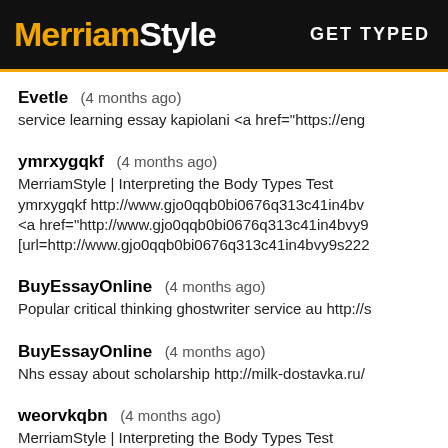MerriamStyle   GET TYPED
Evetle (4 months ago)
service learning essay kapiolani <a href="https://eng
ymrxygqkf (4 months ago)
MerriamStyle | Interpreting the Body Types Test
ymrxygqkf http://www.gjo0qqb0bi0676q313c41in4bv...
<a href="http://www.gjo0qqb0bi0676q313c41in4bvy9...
[url=http://www.gjo0qqb0bi0676q313c41in4bvy9s222...
BuyEssayOnline (4 months ago)
Popular critical thinking ghostwriter service au http://s...
BuyEssayOnline (4 months ago)
Nhs essay about scholarship http://milk-dostavka.ru/...
weorvkqbn (4 months ago)
MerriamStyle | Interpreting the Body Types Test